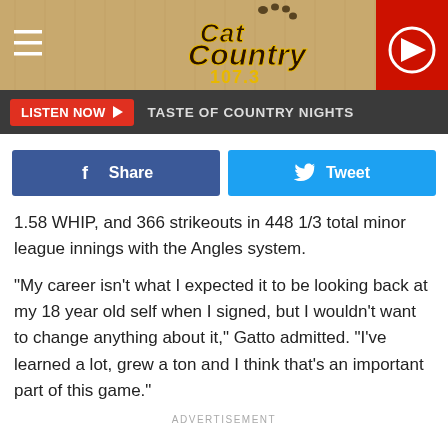[Figure (screenshot): Cat Country 107.3 radio station website header with logo, hamburger menu, and play button]
LISTEN NOW ▶  TASTE OF COUNTRY NIGHTS
[Figure (screenshot): Facebook Share and Twitter Tweet social share buttons]
1.58 WHIP, and 366 strikeouts in 448 1/3 total minor league innings with the Angles system.
"My career isn't what I expected it to be looking back at my 18 year old self when I signed, but I wouldn't want to change anything about it," Gatto admitted. "I've learned a lot, grew a ton and I think that's an important part of this game."
ADVERTISEMENT